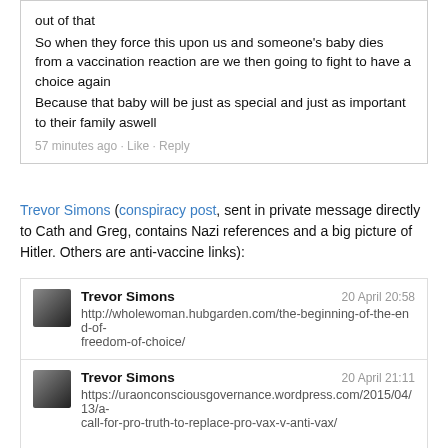out of that
So when they force this upon us and someone's baby dies from a vaccination reaction are we then going to fight to have a choice again
Because that baby will be just as special and just as important to their family aswell
57 minutes ago · Like · Reply
Trevor Simons (conspiracy post, sent in private message directly to Cath and Greg, contains Nazi references and a big picture of Hitler. Others are anti-vaccine links):
Trevor Simons  20 April 20:58
http://wholewoman.hubgarden.com/the-beginning-of-the-end-of-freedom-of-choice/
Trevor Simons  20 April 21:11
https://uraonconsciousgovernance.wordpress.com/2015/04/13/a-call-for-pro-truth-to-replace-pro-vax-v-anti-vax/
https://uraonconsciousgovernance.wordpress.com/2015/04/19/vaccination-part-2-commercial-motives-in-science-and-medicine/